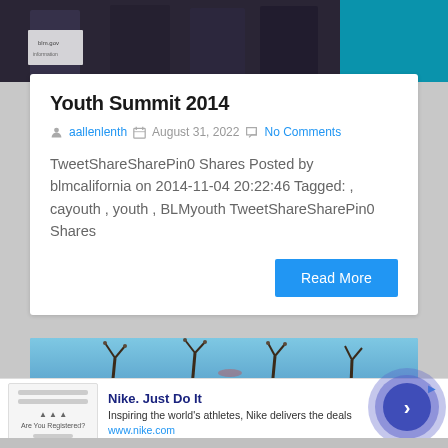[Figure (photo): Top portion of a photo showing people at an event, partially cropped. A blm.gov sign is visible on the left. A person in a cyan/teal shirt is visible on the right.]
Youth Summit 2014
aallenlenth  August 31, 2022  No Comments
TweetShareSharePin0 Shares Posted by blmcalifornia on 2014-11-04 20:22:46 Tagged: , cayouth , youth , BLMyouth TweetShareSharePin0 Shares
Read More
[Figure (photo): Bottom portion of a photo showing bare tree branches against a blue sky.]
[Figure (other): Nike advertisement banner. Shows Nike logo area on left. Title: Nike. Just Do It. Description: Inspiring the world's athletes, Nike delivers the deals. URL: www.nike.com. Has a circular play/arrow button on right side.]